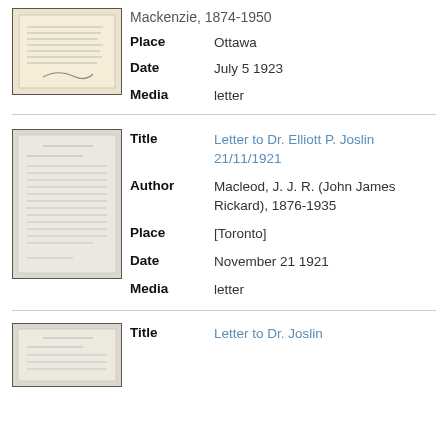[Figure (photo): Thumbnail image of a handwritten or typed letter document, beige/cream colored paper with text and a signature at bottom]
Mackenzie, 1874-1950
Place: Ottawa
Date: July 5 1923
Media: letter
[Figure (photo): Thumbnail image of a typed letter document on light gray/cream paper with multiple paragraphs of text]
Title: Letter to Dr. Elliott P. Joslin 21/11/1921
Author: Macleod, J. J. R. (John James Rickard), 1876-1935
Place: [Toronto]
Date: November 21 1921
Media: letter
[Figure (photo): Thumbnail image of a typed letter document, partially visible at bottom of page]
Title: Letter to Dr. Joslin